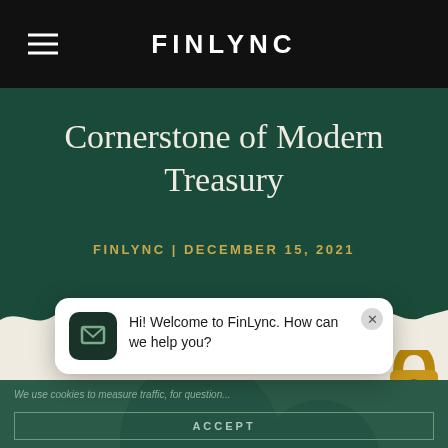FINLYNC
Cornerstone of Modern Treasury
FINLYNC | DECEMBER 15, 2021
[Figure (illustration): Torn paper / ripped edge decorative divider between dark green hero section and cream background]
[Figure (illustration): Gold padlock icon partially visible in top right of cream section]
We use cookies to measure traffic, for question...
ACCEPT
Hi! Welcome to FinLync. How can we help you?